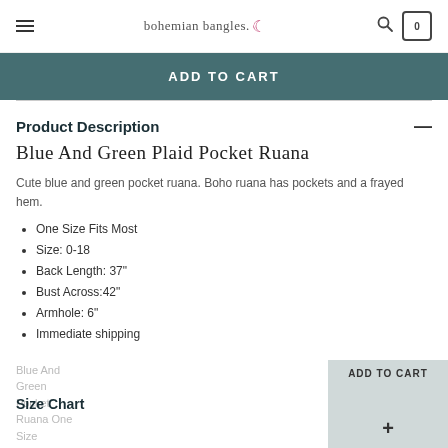bohemian bangles. [menu icon] [search icon] [cart icon 0]
ADD TO CART
Product Description —
Blue And Green Plaid Pocket Ruana
Cute blue and green pocket ruana. Boho ruana has pockets and a frayed hem.
One Size Fits Most
Size: 0-18
Back Length: 37"
Bust Across:42"
Armhole: 6"
Immediate shipping
Size Chart +